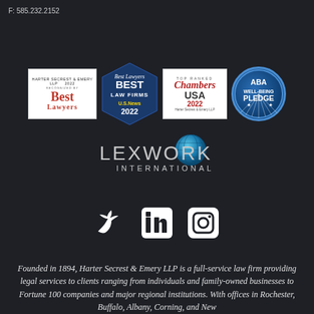F: 585.232.2152
[Figure (logo): Best Lawyers 2022 badge - Harter Secrest & Emery LLP Recognized By Best Lawyers]
[Figure (logo): Best Law Firms US News 2022 hexagonal badge]
[Figure (logo): Chambers USA 2022 Top Ranked - Harter Secrest & Emery LLP]
[Figure (logo): ABA Well-Being Pledge circular badge]
[Figure (logo): LexWork International logo with globe graphic]
[Figure (logo): Social media icons: Twitter, LinkedIn, Instagram]
Founded in 1894, Harter Secrest & Emery LLP is a full-service law firm providing legal services to clients ranging from individuals and family-owned businesses to Fortune 100 companies and major regional institutions. With offices in Rochester, Buffalo, Albany, Corning, and New